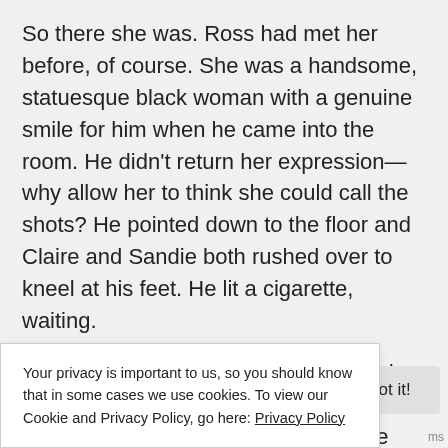So there she was. Ross had met her before, of course. She was a handsome, statuesque black woman with a genuine smile for him when he came into the room. He didn't return her expression—why allow her to think she could call the shots? He pointed down to the floor and Claire and Sandie both rushed over to kneel at his feet. He lit a cigarette, waiting.
Wendy's smile faltered as Ross raised an eyebrow at her and put his lighter in his pocket. The chair scraped against the tiled floor as she pushed away from the kitchen table and stood gracefully, her
the floor near Claire and Sandie.
Your privacy is important to us, so you should know that in some cases we use cookies. To view our Cookie and Privacy Policy, go here: Privacy Policy